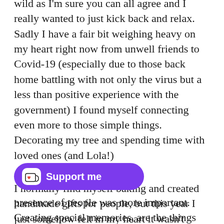wild as I'm sure you can all agree and I really wanted to just kick back and relax. Sadly I have a fair bit weighing heavy on my heart right now from unwell friends to Covid-19 (especially due to those back home battling with not only the virus but a less than positive experience with the government) I found myself connecting even more to those simple things. Decorating my tree and spending time with loved ones (and Lola!)
I normally find myself baking and created handmade gifts for people, but this year I just somehow felt in my heart it wasn't needed. I mean, none of those things are ever needed they're just a thoughtful gesture, but the presence of people was more important. Creating special memories, are the things that are important and help us live a
[Figure (other): A purple rounded button/badge overlay reading 'Support me' with a Ko-fi style icon (white mug with red heart) on the left.]